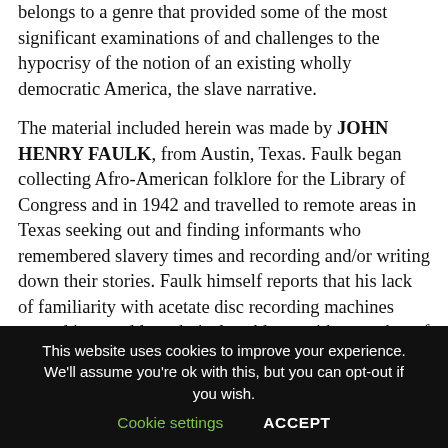belongs to a genre that provided some of the most significant examinations of and challenges to the hypocrisy of the notion of an existing wholly democratic America, the slave narrative.
The material included herein was made by JOHN HENRY FAULK, from Austin, Texas. Faulk began collecting Afro-American folklore for the Library of Congress and in 1942 and travelled to remote areas in Texas seeking out and finding informants who remembered slavery times and recording and/or writing down their stories. Faulk himself reports that his lack of familiarity with acetate disc recording machines caused irreparable technical problems with a number of recordings but thankfully his
This website uses cookies to improve your experience. We'll assume you're ok with this, but you can opt-out if you wish. Cookie settings ACCEPT